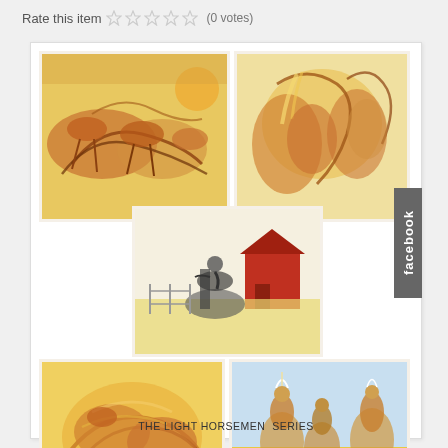Rate this item ☆☆☆☆☆ (0 votes)
[Figure (illustration): Collection of five watercolor/gouache paintings from 'The Light Horsemen Series' showing horses and riders in dynamic action poses. Top left: three galloping horses with riders. Top right: horses rearing. Center: cowboy on dark horse near red barn. Bottom left: swirling horses and rider. Bottom right: three riders on horseback in desert scene.]
THE LIGHT HORSEMEN  SERIES